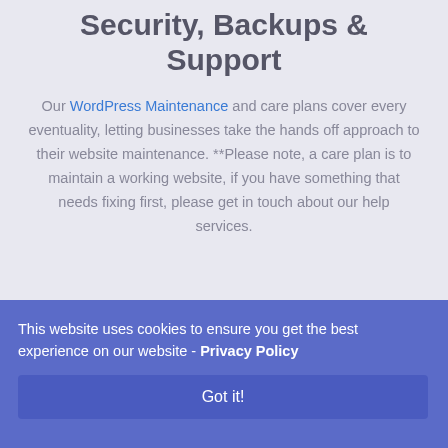Security, Backups & Support
Our WordPress Maintenance and care plans cover every eventuality, letting businesses take the hands off approach to their website maintenance. **Please note, a care plan is to maintain a working website, if you have something that needs fixing first, please get in touch about our help services.
This website uses cookies to ensure you get the best experience on our website - Privacy Policy
Got it!